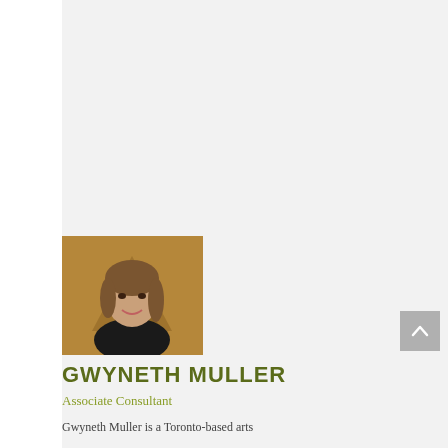[Figure (photo): Professional headshot of Gwyneth Muller, a woman with shoulder-length brown hair, smiling, wearing a dark blazer. Background is a warm brown with a faint logo watermark.]
GWYNETH MULLER
Associate Consultant
Gwyneth Muller is a Toronto-based arts